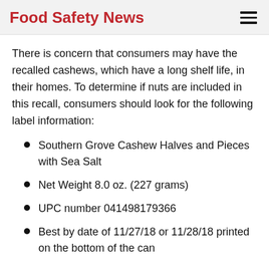Food Safety News
There is concern that consumers may have the recalled cashews, which have a long shelf life, in their homes. To determine if nuts are included in this recall, consumers should look for the following label information:
Southern Grove Cashew Halves and Pieces with Sea Salt
Net Weight 8.0 oz. (227 grams)
UPC number 041498179366
Best by date of 11/27/18 or 11/28/18 printed on the bottom of the can